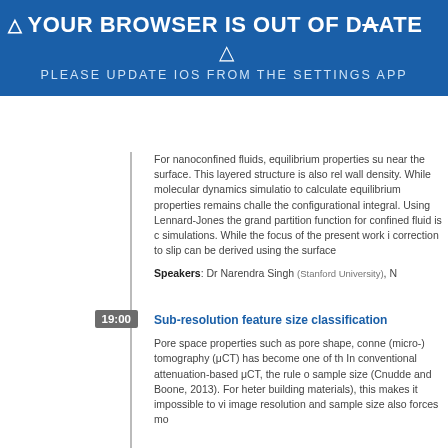[Figure (screenshot): Browser out of date warning banner with blue background, warning triangle icon, bold white text 'YOUR BROWSER IS OUT OF DATE', sub-triangle icon, and subtitle 'PLEASE UPDATE IOS FROM THE SETTINGS APP']
For nanoconfined fluids, equilibrium properties su near the surface. This layered structure is also rel wall density. While molecular dynamics simulatio to calculate equilibrium properties remains challe the configurational integral. Using Lennard-Jones the grand partition function for confined fluid is c simulations. While the focus of the present work i correction to slip can be derived using the surface
Speakers: Dr Narendra Singh (Stanford University), N
19:00
Sub-resolution feature size classification
Pore space properties such as pore shape, conne (micro-) tomography (μCT) has become one of th In conventional attenuation-based μCT, the rule o sample size (Cnudde and Boone, 2013). For heter building materials), this makes it impossible to vi image resolution and sample size also forces mo